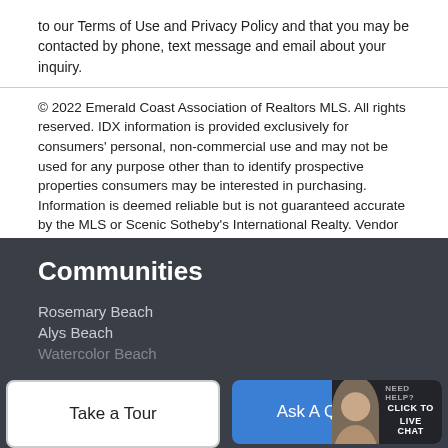to our Terms of Use and Privacy Policy and that you may be contacted by phone, text message and email about your inquiry.
© 2022 Emerald Coast Association of Realtors MLS. All rights reserved. IDX information is provided exclusively for consumers' personal, non-commercial use and may not be used for any purpose other than to identify prospective properties consumers may be interested in purchasing. Information is deemed reliable but is not guaranteed accurate by the MLS or Scenic Sotheby's International Realty. Vendor Member number: 28178. Data last updated: 2022-08-19T09:59:43.24. Vendor Member #28178.
Communities
Rosemary Beach
Alys Beach
Watercolor Beach